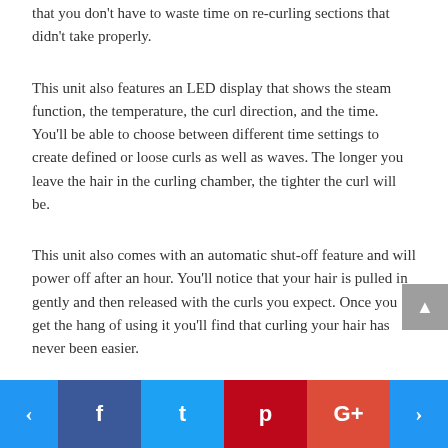that you don't have to waste time on re-curling sections that didn't take properly.
This unit also features an LED display that shows the steam function, the temperature, the curl direction, and the time. You'll be able to choose between different time settings to create defined or loose curls as well as waves. The longer you leave the hair in the curling chamber, the tighter the curl will be.
This unit also comes with an automatic shut-off feature and will power off after an hour. You'll notice that your hair is pulled in gently and then released with the curls you expect. Once you get the hang of using it you'll find that curling your hair has never been easier.
As an added bonus, this automatic curler comes with a protective cover for easy storage when not in use. If you're a traveler, you'll definitely appreciate this cover when the
< f t p G+ >